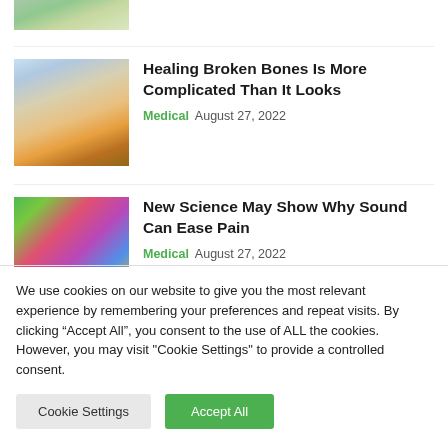[Figure (photo): Partial cropped image at top, appears to be food/vegetables with green leaves]
[Figure (photo): Person sitting with leg in cast/bandage, colorful background]
Healing Broken Bones Is More Complicated Than It Looks
Medical  August 27, 2022
[Figure (photo): Person with headphones listening to music, colorful background]
New Science May Show Why Sound Can Ease Pain
Medical  August 27, 2022
We use cookies on our website to give you the most relevant experience by remembering your preferences and repeat visits. By clicking “Accept All”, you consent to the use of ALL the cookies. However, you may visit "Cookie Settings" to provide a controlled consent.